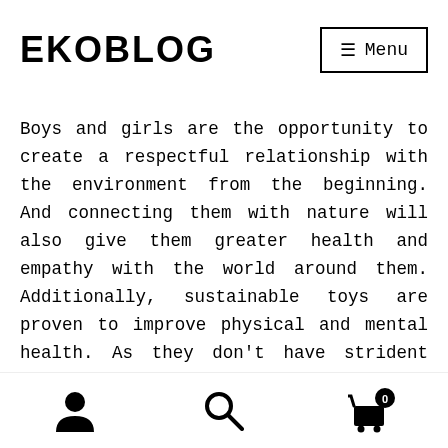EKOBLOG
Boys and girls are the opportunity to create a respectful relationship with the environment from the beginning. And connecting them with nature will also give them greater health and empathy with the world around them. Additionally, sustainable toys are proven to improve physical and mental health. As they don't have strident lights or sounds like the majority of the plastic toys, they
[user icon] [search icon] [cart icon with badge 0]